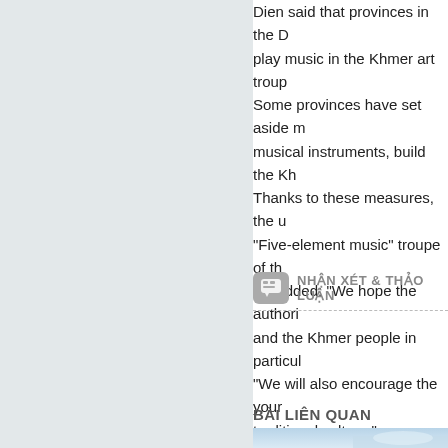Dien said that provinces in the D... play music in the Khmer art troup... Some provinces have set aside m... musical instruments, build the Kh... Thanks to these measures, the u... "Five-element music" troupe of th... He added: "We hope the authori... and the Khmer people in particul... "We will also encourage the your... traditional culture."
NHẬN XÉT & THẢO LUẬN
BÀI LIÊN QUAN
[Figure (photo): Partial thumbnail image visible at bottom right, appears to be a landscape or sky photo in blue/white tones.]